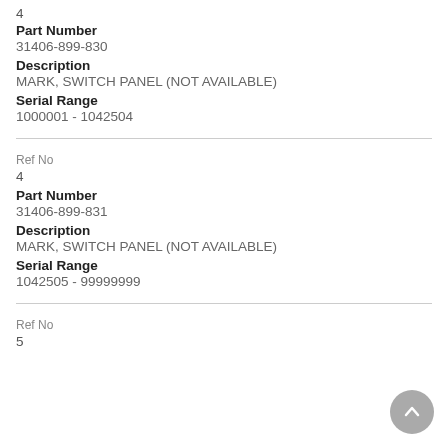4
Part Number
31406-899-830
Description
MARK, SWITCH PANEL (NOT AVAILABLE)
Serial Range
1000001 - 1042504
Ref No
4
Part Number
31406-899-831
Description
MARK, SWITCH PANEL (NOT AVAILABLE)
Serial Range
1042505 - 99999999
Ref No
5